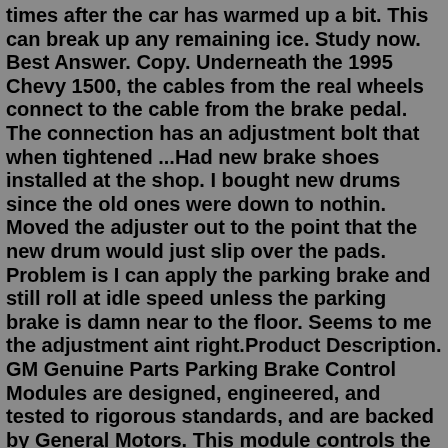times after the car has warmed up a bit. This can break up any remaining ice. Study now. Best Answer. Copy. Underneath the 1995 Chevy 1500, the cables from the real wheels connect to the cable from the brake pedal. The connection has an adjustment bolt that when tightened ...Had new brake shoes installed at the shop. I bought new drums since the old ones were down to nothin. Moved the adjuster out to the point that the new drum would just slip over the pads. Problem is I can apply the parking brake and still roll at idle speed unless the parking brake is damn near to the floor. Seems to me the adjustment aint right.Product Description. GM Genuine Parts Parking Brake Control Modules are designed, engineered, and tested to rigorous standards, and are backed by General Motors. This module controls the application of brake pads to the rear wheels. GM Genuine Parts are the true OE parts installed during the production of or validated by General Motors for GM ... Jan 15, 2013 · You want to adjust the parking brake shoes first, with a slight bit of drag on the rotor.